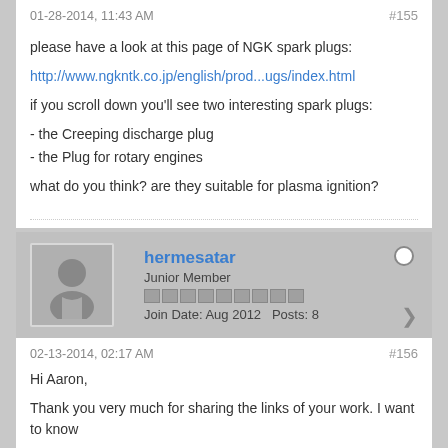01-28-2014, 11:43 AM
#155
please have a look at this page of NGK spark plugs:
http://www.ngkntk.co.jp/english/prod...ugs/index.html
if you scroll down you'll see two interesting spark plugs:

- the Creeping discharge plug
- the Plug for rotary engines

what do you think? are they suitable for plasma ignition?
hermesatar
Junior Member
Join Date: Aug 2012   Posts: 8
02-13-2014, 02:17 AM
#156
Hi Aaron,
Thank you very much for sharing the links of your work. I want to know